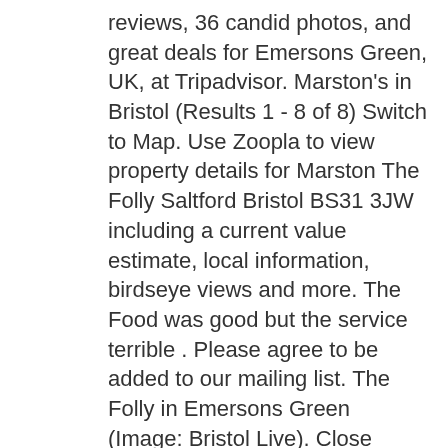reviews, 36 candid photos, and great deals for Emersons Green, UK, at Tripadvisor. Marston's in Bristol (Results 1 - 8 of 8) Switch to Map. Use Zoopla to view property details for Marston The Folly Saltford Bristol BS31 3JW including a current value estimate, local information, birdseye views and more. The Food was good but the service terrible . Please agree to be added to our mailing list. The Folly in Emersons Green (Image: Bristol Live). Close cookie banner We use cookies to give you the best possible experience on our site, and so that we and third parties can show you more personalised ads, including adverts on other websites. Offering traditional pub dishes with modern twists, the focus is on fresh, top quality food at an affordable price. Pub finder, enter postcode to find your local Marston's pub fred spoons left this review about The Folly Inn. Carlsberg Marston's Brewing Company. Full A-Z Plant List at Larch Cottage Nurseries. View details and apply for this General Manager job in Emersons Green, Bristol (BS16) with Marston's on